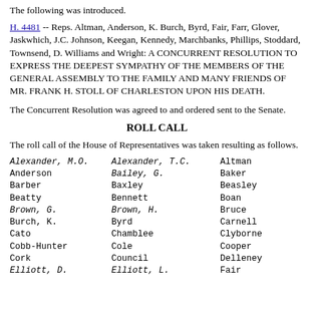The following was introduced:
H. 4481 -- Reps. Altman, Anderson, K. Burch, Byrd, Fair, Farr, Glover, Jaskwhich, J.C. Johnson, Keegan, Kennedy, Marchbanks, Phillips, Stoddard, Townsend, D. Williams and Wright: A CONCURRENT RESOLUTION TO EXPRESS THE DEEPEST SYMPATHY OF THE MEMBERS OF THE GENERAL ASSEMBLY TO THE FAMILY AND MANY FRIENDS OF MR. FRANK H. STOLL OF CHARLESTON UPON HIS DEATH.
The Concurrent Resolution was agreed to and ordered sent to the Senate.
ROLL CALL
The roll call of the House of Representatives was taken resulting as follows.
Alexander, M.O.
Alexander, T.C.
Altman
Anderson
Bailey, G.
Baker
Barber
Baxley
Beasley
Beatty
Bennett
Boan
Brown, G.
Brown, H.
Bruce
Burch, K.
Byrd
Carnell
Cato
Chamblee
Clyborne
Cobb-Hunter
Cole
Cooper
Cork
Council
Delleney
Elliott, D.
Elliott, L.
Fair